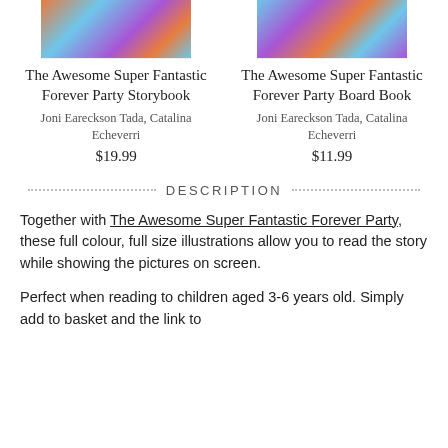[Figure (photo): Top portion of colorful illustrated book cover - The Awesome Super Fantastic Forever Party Storybook]
The Awesome Super Fantastic Forever Party Storybook
Joni Eareckson Tada, Catalina Echeverri
$19.99
[Figure (photo): Top portion of colorful illustrated book cover - The Awesome Super Fantastic Forever Party Board Book]
The Awesome Super Fantastic Forever Party Board Book
Joni Eareckson Tada, Catalina Echeverri
$11.99
DESCRIPTION
Together with The Awesome Super Fantastic Forever Party, these full colour, full size illustrations allow you to read the story while showing the pictures on screen.
Perfect when reading to children aged 3-6 years old. Simply add to basket and the link to